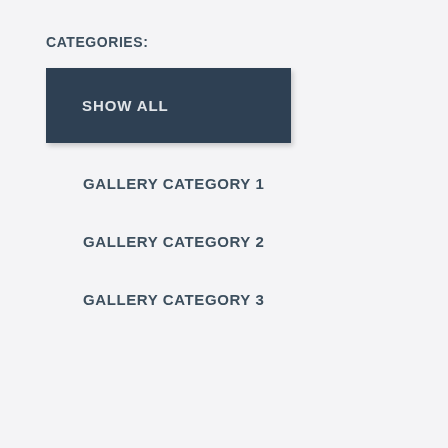CATEGORIES:
SHOW ALL
GALLERY CATEGORY 1
GALLERY CATEGORY 2
GALLERY CATEGORY 3